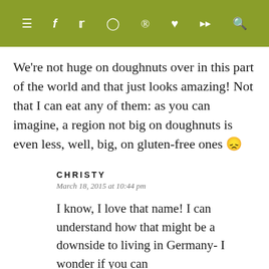≡ f 𝕥 ⊙ ⊕ ♥ ))) 🔍
We're not huge on doughnuts over in this part of the world and that just looks amazing! Not that I can eat any of them: as you can imagine, a region not big on doughnuts is even less, well, big, on gluten-free ones 😕
CHRISTY
March 18, 2015 at 10:44 pm

I know, I love that name! I can understand how that might be a downside to living in Germany- I wonder if you can